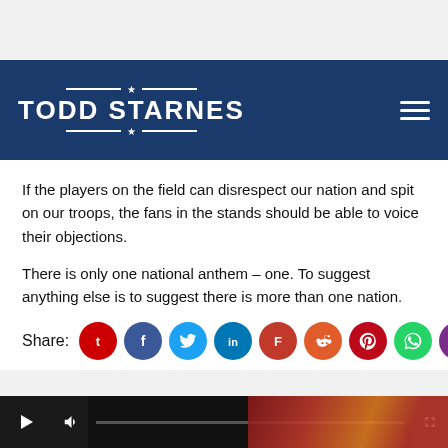TODD STARNES
If the players on the field can disrespect our nation and spit on our troops, the fans in the stands should be able to voice their objections.
There is only one national anthem – one. To suggest anything else is to suggest there is more than one nation.
Share:
[Figure (infographic): Row of social share icon circles: Todd Starnes (red), Facebook (dark blue), Twitter (light blue), LinkedIn (blue), Flipboard (red), Reddit (orange), Pinterest (dark red), WhatsApp (green), Email (purple)]